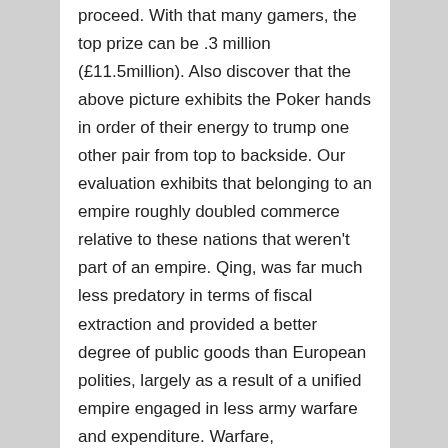proceed. With that many gamers, the top prize can be .3 million (£11.5million). Also discover that the above picture exhibits the Poker hands in order of their energy to trump one other pair from top to backside. Our evaluation exhibits that belonging to an empire roughly doubled commerce relative to these nations that weren't part of an empire. Qing, was far much less predatory in terms of fiscal extraction and provided a better degree of public goods than European polities, largely as a result of a unified empire engaged in less army warfare and expenditure. Warfare, nevertheless, impacted the European countryside way more severely than cities, which had been typically better